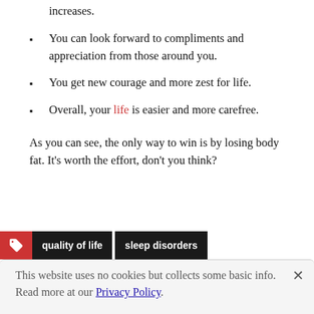increases.
You can look forward to compliments and appreciation from those around you.
You get new courage and more zest for life.
Overall, your life is easier and more carefree.
As you can see, the only way to win is by losing body fat. It's worth the effort, don't you think?
quality of life  sleep disorders
This website uses no cookies but collects some basic info. Read more at our Privacy Policy.